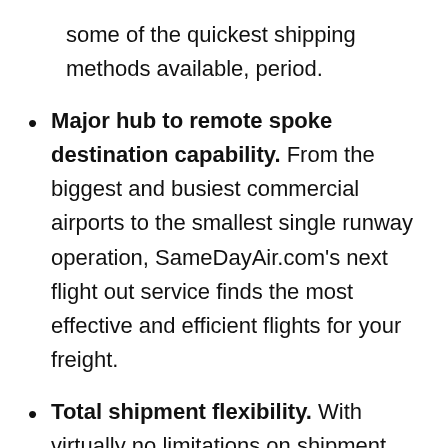some of the quickest shipping methods available, period.
Major hub to remote spoke destination capability. From the biggest and busiest commercial airports to the smallest single runway operation, SameDayAir.com's next flight out service finds the most effective and efficient flights for your freight.
Total shipment flexibility. With virtually no limitations on shipment size, we